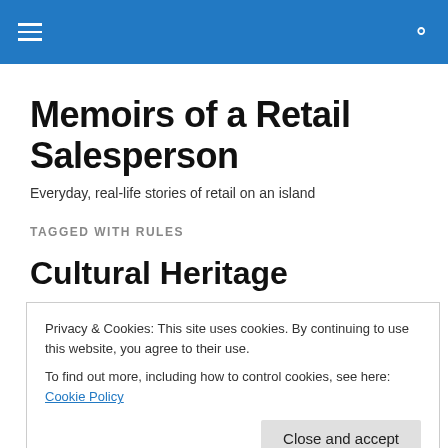Memoirs of a Retail Salesperson — site navigation header bar
Memoirs of a Retail Salesperson
Everyday, real-life stories of retail on an island
TAGGED WITH RULES
Cultural Heritage
Privacy & Cookies: This site uses cookies. By continuing to use this website, you agree to their use. To find out more, including how to control cookies, see here: Cookie Policy
ridiculously narrow-minded and ignorant, there is no